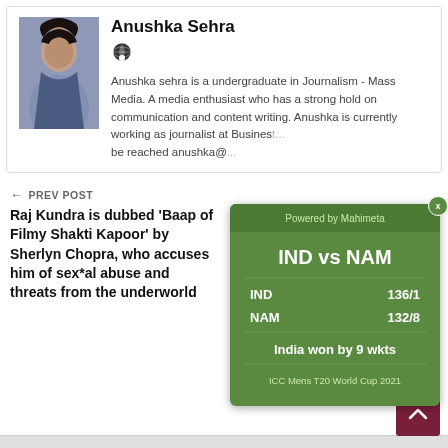[Figure (photo): Profile photo of Anushka Sehra, a woman with long dark hair wearing a blue outfit]
Anushka Sehra
[Figure (other): Globe/location pin icon]
Anushka sehra is a undergraduate in Journalism - Mass Media. A media enthusiast who has a strong hold on communication and content writing. Anushka is currently working as journalist at Busines... be reached anushka@...
[Figure (infographic): Cricket score widget: IND vs NAM. IND 136/1, NAM 132/8. India won by 9 wkts. ICC Mens T20 World Cup 2021. Powered by Mahimeta.]
← PREV POST
Raj Kundra is dubbed 'Baap of Filmy Shakti Kapoor' by Sherlyn Chopra, who accuses him of sex*al abuse and threats from the underworld
Bachchan in Gulabo Sitabo, has died at the age of 89